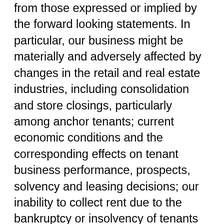from those expressed or implied by the forward looking statements. In particular, our business might be materially and adversely affected by changes in the retail and real estate industries, including consolidation and store closings, particularly among anchor tenants; current economic conditions and the corresponding effects on tenant business performance, prospects, solvency and leasing decisions; our inability to collect rent due to the bankruptcy or insolvency of tenants or otherwise; our ability to maintain and increase property occupancy, sales and rental rates; increases in operating costs that cannot be passed on to tenants; the effects of online shopping and other uses of technology on our retail tenants; risks related to our development and redevelopment activities, including delays, cost overruns and our inability to reach projected occupancy or rental rates; acts of violence at malls, including our properties, or at other similar spaces, and the potential effect on traffic and sales; our ability to sell properties that we seek to dispose of or our ability to obtain